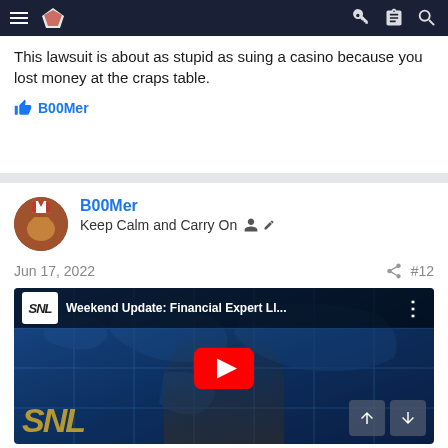This lawsuit is about as stupid as suing a casino because you lost money at the craps table.
B00Mer
B00Mer
Keep Calm and Carry On
Jun 17, 2022  #12
[Figure (screenshot): YouTube video thumbnail for SNL Weekend Update: Financial Expert LI... showing a man in glasses and bow tie against a world map background with SNL logo, red play button in center]